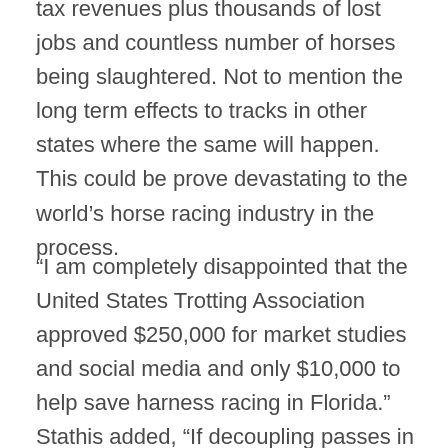tax revenues plus thousands of lost jobs and countless number of horses being slaughtered. Not to mention the long term effects to tracks in other states where the same will happen. This could be prove devastating to the world's horse racing industry in the process.
“I am completely disappointed that the United States Trotting Association approved $250,000 for market studies and social media and only $10,000 to help save harness racing in Florida.” Stathis added, “If decoupling passes in Florida, it would likely spread across all